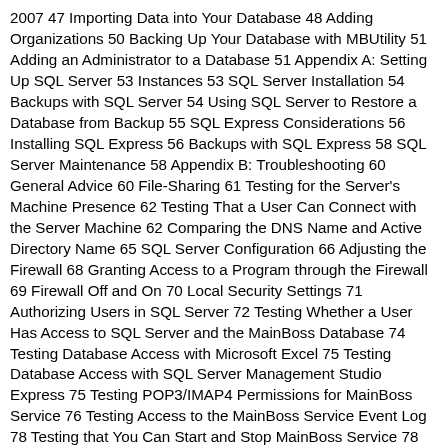2007 47 Importing Data into Your Database 48 Adding Organizations 50 Backing Up Your Database with MBUtility 51 Adding an Administrator to a Database 51 Appendix A: Setting Up SQL Server 53 Instances 53 SQL Server Installation 54 Backups with SQL Server 54 Using SQL Server to Restore a Database from Backup 55 SQL Express Considerations 56 Installing SQL Express 56 Backups with SQL Express 58 SQL Server Maintenance 58 Appendix B: Troubleshooting 60 General Advice 60 File-Sharing 61 Testing for the Server's Machine Presence 62 Testing That a User Can Connect with the Server Machine 62 Comparing the DNS Name and Active Directory Name 65 SQL Server Configuration 66 Adjusting the Firewall 68 Granting Access to a Program through the Firewall 69 Firewall Off and On 70 Local Security Settings 71 Authorizing Users in SQL Server 72 Testing Whether a User Has Access to SQL Server and the MainBoss Database 74 Testing Database Access with Microsoft Excel 75 Testing Database Access with SQL Server Management Studio Express 75 Testing POP3/IMAP4 Permissions for MainBoss Service 76 Testing Access to the MainBoss Service Event Log 78 Testing that You Can Start and Stop MainBoss Service 78 General Troubleshooting 79 Appendix C: MainBossRemote 80 MainBossRemote System Requirements 80 Minimum Server Configuration 80 License Keys 82 Initial Set-Up 82